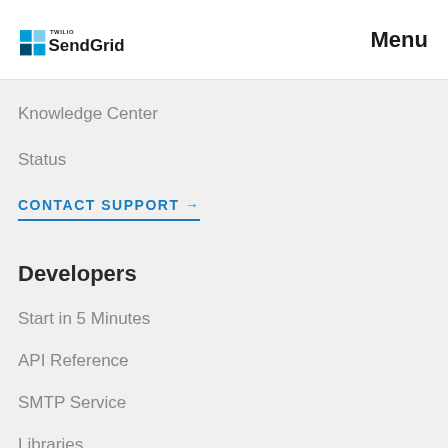[Figure (logo): Twilio SendGrid logo — blue grid squares icon with 'TWILIO' in small text above 'SendGrid' in large dark text]
Menu
Knowledge Center
Status
CONTACT SUPPORT →
Developers
Start in 5 Minutes
API Reference
SMTP Service
Libraries